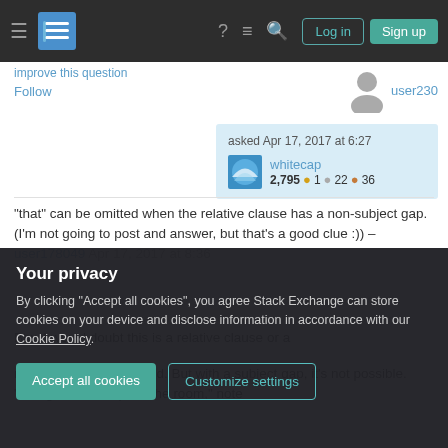Stack Exchange navigation bar with Log in and Sign up buttons
Improve this question
Follow
user230
asked Apr 17, 2017 at 6:27
whitecap 2,795 ● 1 ● 22 ● 36
"that" can be omitted when the relative clause has a non-subject gap. (I'm not going to post and answer, but that's a good clue :)) – user178049 Apr 17, 2017 at 8:36
Btw, I would doubt this is a relative clause or a
relativizer can be omitted. But with a subject gap, it's not possible. "The girl that sleeps in the room," note
Your privacy
By clicking "Accept all cookies", you agree Stack Exchange can store cookies on your device and disclose information in accordance with our Cookie Policy.
Accept all cookies
Customize settings